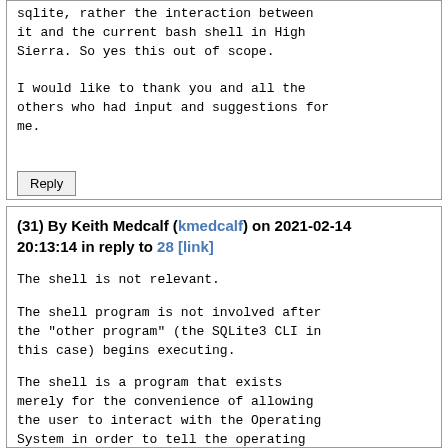sqlite, rather the interaction between it and the current bash shell in High Sierra. So yes this out of scope.

I would like to thank you and all the others who had input and suggestions for me.
Reply
(31) By Keith Medcalf (kmedcalf) on 2021-02-14 20:13:14 in reply to 28 [link]
The shell is not relevant.

The shell program is not involved after the "other program" (the SQLite3 CLI in this case) begins executing.

The shell is a program that exists merely for the convenience of allowing the user to interact with the Operating System in order to tell the operating system what program to run.  Once the that other program begins executing the